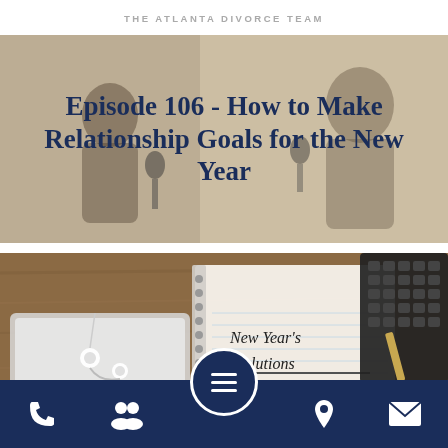THE ATLANTA DIVORCE TEAM
[Figure (photo): Two men talking at podcast microphones in a studio, background image for episode header with dark navy overlay text]
Episode 106 - How to Make Relationship Goals for the New Year
[Figure (photo): Flat lay photo of a spiral notebook with 'New Year's Resolutions' written in handwriting, beside white earbuds and a laptop keyboard with a pencil]
Navigation bar with phone, group, menu, location, and email icons